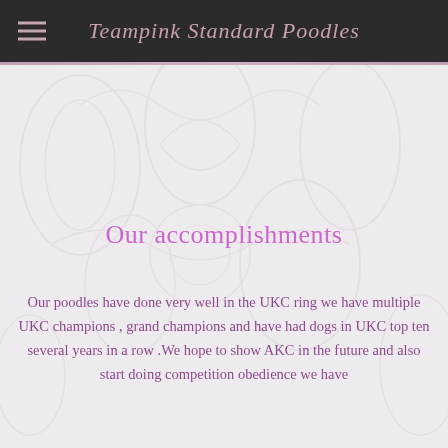Teampink Standard Poodles
Our accomplishments
Our poodles have done very well in the UKC ring we have multiple UKC champions , grand champions and have had dogs in UKC top ten several years in a row .We hope to show AKC in the future and also start doing competition obedience we have